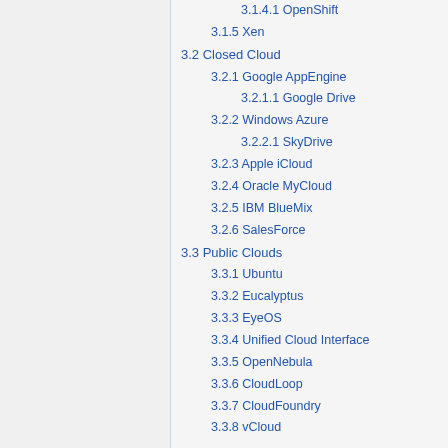3.1.4.1 OpenShift
3.1.5 Xen
3.2 Closed Cloud
3.2.1 Google AppEngine
3.2.1.1 Google Drive
3.2.2 Windows Azure
3.2.2.1 SkyDrive
3.2.3 Apple iCloud
3.2.4 Oracle MyCloud
3.2.5 IBM BlueMix
3.2.6 SalesForce
3.3 Public Clouds
3.3.1 Ubuntu
3.3.2 Eucalyptus
3.3.3 EyeOS
3.3.4 Unified Cloud Interface
3.3.5 OpenNebula
3.3.6 CloudLoop
3.3.7 CloudFoundry
3.3.8 vCloud